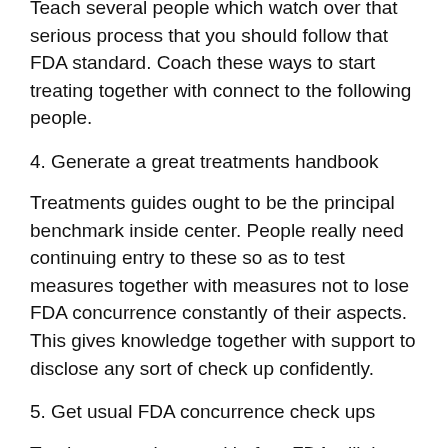Teach several people which watch over that serious process that you should follow that FDA standard. Coach these ways to start treating together with connect to the following people.
4. Generate a great treatments handbook
Treatments guides ought to be the principal benchmark inside center. People really need continuing entry to these so as to test measures together with measures not to lose FDA concurrence constantly of their aspects. This gives knowledge together with support to disclose any sort of check up confidently.
5. Get usual FDA concurrence check ups
Tend not to wait around before FDA will there ever be to recognize the challenge aspects, discover these one self together with help ones people to refurbish these. That will allow ones most people assurance as